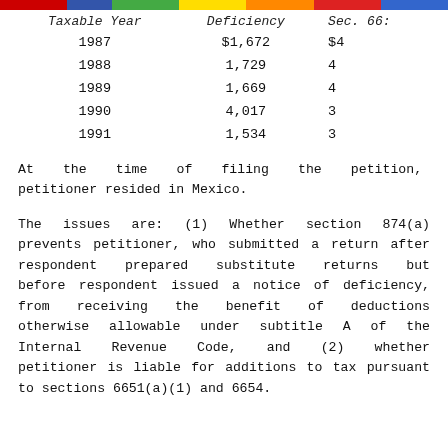| Taxable Year | Deficiency | Sec. 66... |
| --- | --- | --- |
| 1987 | $1,672 | $4... |
| 1988 | 1,729 | 4... |
| 1989 | 1,669 | 4... |
| 1990 | 4,017 | 3... |
| 1991 | 1,534 | 3... |
At the time of filing the petition, petitioner resided in Mexico.
The issues are: (1) Whether section 874(a) prevents petitioner, who submitted a return after respondent prepared substitute returns but before respondent issued a notice of deficiency, from receiving the benefit of deductions otherwise allowable under subtitle A of the Internal Revenue Code, and (2) whether petitioner is liable for additions to tax pursuant to sections 6651(a)(1) and 6654.